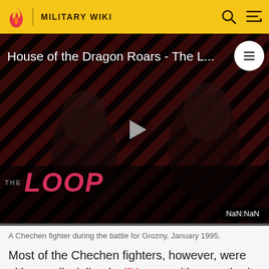MILITARY WIKI
[Figure (screenshot): Video thumbnail for 'House of the Dragon Roars - The L...' showing two figures in dark lighting with diagonal red and black stripes in the background. Play button in center. THE LOOP logo at bottom left. NaN:NaN timestamp badge at bottom right.]
A Chechen fighter during the battle for Grozny, January 1995.
Most of the Chechen fighters, however, were either undisciplined militiamen with no authority or answering only to orders coming only from their immediate field commander (often just a warlord), which made effective